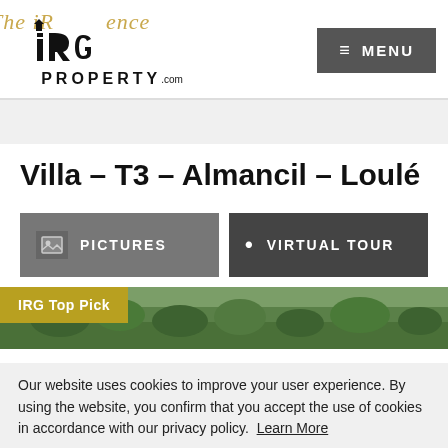The IRG Experience — IRG PROPERTY.com — MENU
Villa – T3 – Almancil – Loulé
PICTURES
VIRTUAL TOUR
[Figure (photo): Aerial landscape photo showing green tree canopy, with IRG Top Pick badge overlay]
Our website uses cookies to improve your user experience. By using the website, you confirm that you accept the use of cookies in accordance with our privacy policy. Learn More